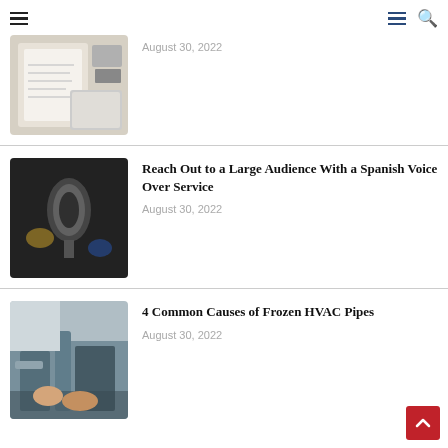Menu | Menu | Search
[Figure (photo): Clipboard with notepad and laptop on desk, top-down view]
August 30, 2022
Reach Out to a Large Audience With a Spanish Voice Over Service
August 30, 2022
[Figure (photo): Close-up of a studio microphone with blurred background]
4 Common Causes of Frozen HVAC Pipes
August 30, 2022
[Figure (photo): Hands working on HVAC pipes and fittings]